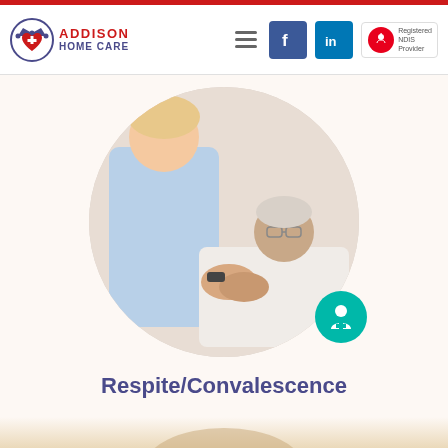Addison Home Care — navigation header with logo, hamburger menu, Facebook, LinkedIn, and NDIS Registered Provider badge
[Figure (photo): Circular cropped photo of a female nurse/carer in blue scrubs holding hands with an elderly male patient lying down, with a teal nurse icon badge overlay in the lower right of the circle]
Respite/Convalescence
[Figure (photo): Partially visible blurred warm-toned image at the bottom of the page, content cut off]